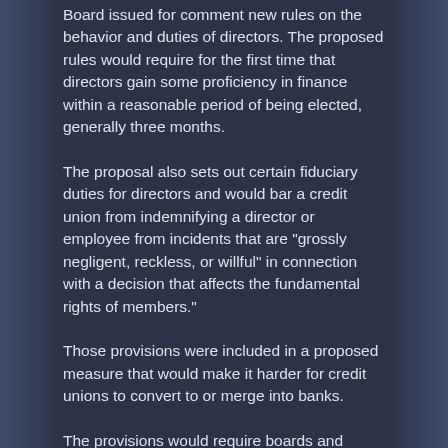Board issued for comment new rules on the behavior and duties of directors. The proposed rules would require for the first time that directors gain some proficiency in finance within a reasonable period of being elected, generally three months.
The proposal also sets out certain fiduciary duties for directors and would bar a credit union from indemnifying a director or employee from incidents that are "grossly negligent, reckless, or willful" in connection with a decision that affects the fundamental rights of members."
Those provisions were included in a proposed measure that would make it harder for credit unions to convert to or merge into banks.
The provisions would require boards and management contemplating a conversion into a bank to obtain a